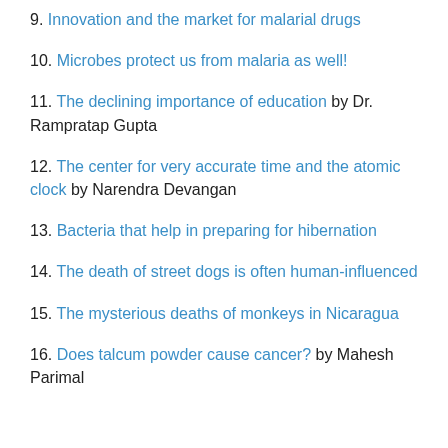9. Innovation and the market for malarial drugs
10. Microbes protect us from malaria as well!
11. The declining importance of education by Dr. Rampratap Gupta
12. The center for very accurate time and the atomic clock by Narendra Devangan
13. Bacteria that help in preparing for hibernation
14. The death of street dogs is often human-influenced
15. The mysterious deaths of monkeys in Nicaragua
16. Does talcum powder cause cancer? by Mahesh Parimal